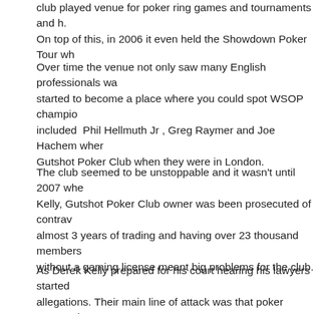club played venue for poker ring games and tournaments and h. On top of this, in 2006 it even held the Showdown Poker Tour wh
Over time the venue not only saw many English professionals wa started to become a place where you could spot WSOP champio included  Phil Hellmuth Jr , Greg Raymer and Joe Hachem wher Gutshot Poker Club when they were in London.
The club seemed to be unstoppable and it wasn't until 2007 whe Kelly, Gutshot Poker Club owner was been prosecuted of contrav almost 3 years of trading and having over 23 thousand members without a gaming license meant big problems for the club.
As Derek Kelly prepared for his court hearing his lawyers started allegations. Their main line of attack was that poker games shou as roulette or blackjack because it is more a game of skill rather fought the conviction as best as he could but ultimately after two end for Gutshot Poker Club and it was forced to close its doors f